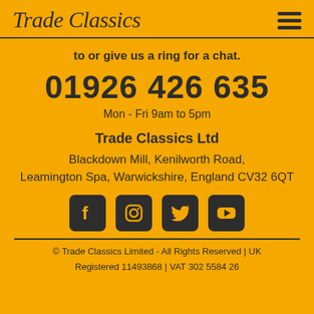Trade Classics
to or give us a ring for a chat.
01926 426 635
Mon - Fri 9am to 5pm
Trade Classics Ltd
Blackdown Mill, Kenilworth Road, Leamington Spa, Warwickshire, England CV32 6QT
[Figure (other): Social media icons: Facebook, Instagram, Twitter, YouTube]
© Trade Classics Limited - All Rights Reserved | UK
Registered 11493868 | VAT 302 5584 26